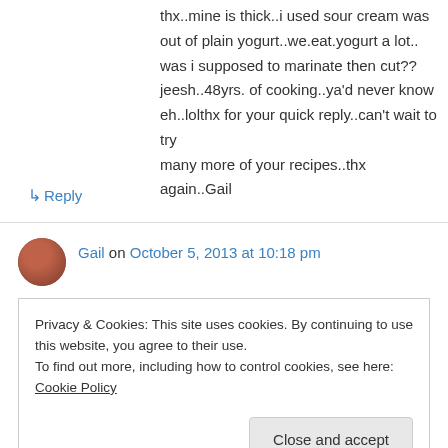thx..mine is thick..i used sour cream was out of plain yogurt..we.eat.yogurt a lot.. was i supposed to marinate then cut?? jeesh..48yrs. of cooking..ya'd never know eh..lolthx for your quick reply..can't wait to try many more of your recipes..thx again..Gail
↳ Reply
Gail on October 5, 2013 at 10:18 pm
Privacy & Cookies: This site uses cookies. By continuing to use this website, you agree to their use.
To find out more, including how to control cookies, see here: Cookie Policy
Close and accept
tasty enough thenyahhh had Aladdin coabs but